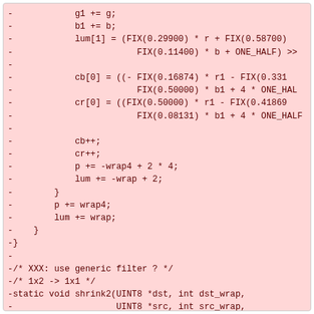-            g1 += g;
-            b1 += b;
-            lum[1] = (FIX(0.29900) * r + FIX(0.58700)
-                        FIX(0.11400) * b + ONE_HALF) >>
-
-            cb[0] = ((- FIX(0.16874) * r1 - FIX(0.331
-                        FIX(0.50000) * b1 + 4 * ONE_HAL
-            cr[0] = ((FIX(0.50000) * r1 - FIX(0.41869
-                        FIX(0.08131) * b1 + 4 * ONE_HALF
-
-            cb++;
-            cr++;
-            p += -wrap4 + 2 * 4;
-            lum += -wrap + 2;
-        }
-        p += wrap4;
-        lum += wrap;
-    }
-}
-
-/* XXX: use generic filter ? */
-/* 1x2 -> 1x1 */
-static void shrink2(UINT8 *dst, int dst_wrap,
-                    UINT8 *src, int src_wrap,
-                    int width, int height)